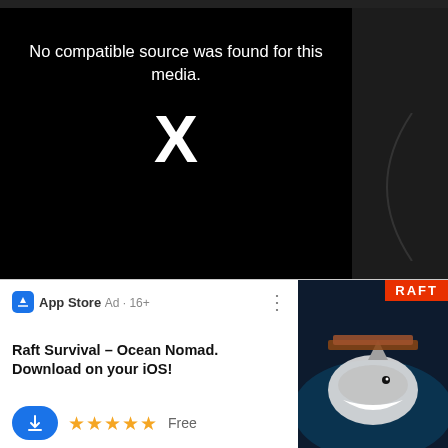[Figure (screenshot): Black video player error screen showing 'No compatible source was found for this media.' with a large white X symbol in the center]
No compatible source was found for this media.
[Figure (screenshot): Dark thumbnail grid showing two rows of video thumbnails with channel logos including NBC 5 and Kanal 58]
[Figure (screenshot): App Store ad banner for 'Raft Survival - Ocean Nomad' showing 5 stars, Free download button, and app icon with shark]
App Store  Ad·16+
Raft Survival – Ocean Nomad. Download on your iOS!
Free